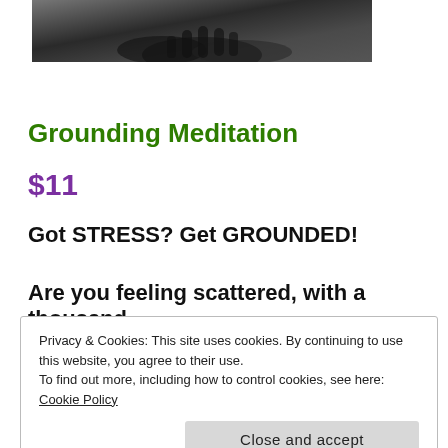[Figure (photo): Dark grayscale photo of hands, partially cropped at top of page]
Grounding Meditation
$11
Got STRESS? Get GROUNDED!
Are you feeling scattered, with a thousand
Privacy & Cookies: This site uses cookies. By continuing to use this website, you agree to their use.
To find out more, including how to control cookies, see here: Cookie Policy

Close and accept